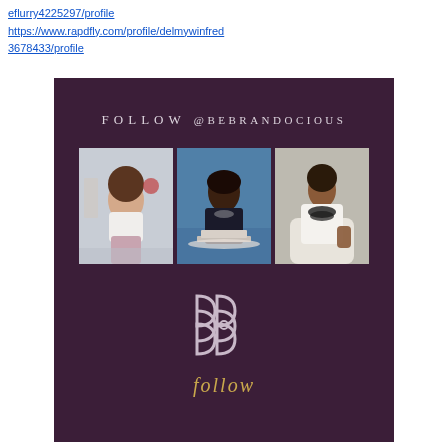eflurry4225297/profile https://www.rapdfly.com/profile/delmywinfred3678433/profile
[Figure (infographic): Dark purple/plum promotional banner for @bebrandocious with text 'FOLLOW @BEBRANDOCIOUS', three portrait photos of women, a stylized BB logo, and script text 'follow' in gold]